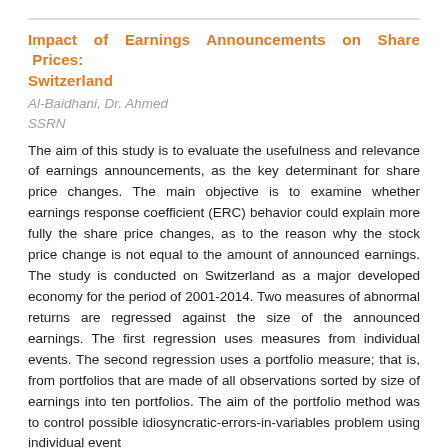Impact of Earnings Announcements on Share Prices: Switzerland
Al-Baidhani, Dr. Ahmed
SSRN
The aim of this study is to evaluate the usefulness and relevance of earnings announcements, as the key determinant for share price changes. The main objective is to examine whether earnings response coefficient (ERC) behavior could explain more fully the share price changes, as to the reason why the stock price change is not equal to the amount of announced earnings. The study is conducted on Switzerland as a major developed economy for the period of 2001-2014. Two measures of abnormal returns are regressed against the size of the announced earnings. The first regression uses measures from individual events. The second regression uses a portfolio measure; that is, from portfolios that are made of all observations sorted by size of earnings into ten portfolios. The aim of the portfolio method was to control possible idiosyncratic-errors-in-variables problem using individual event